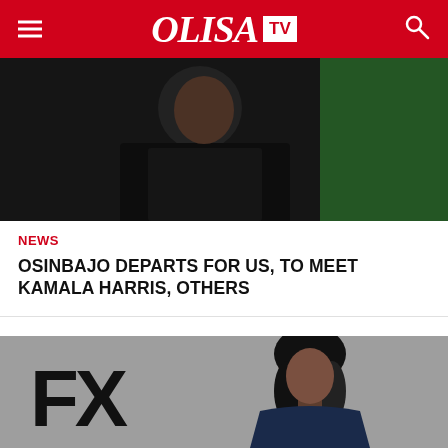OLISA TV
[Figure (photo): Person in dark t-shirt at an outdoor event with green background]
NEWS
OSINBAJO DEPARTS FOR US, TO MEET KAMALA HARRIS, OTHERS
[Figure (photo): Woman with shoulder-length black hair posing for a professional photo with FX logo on grey background]